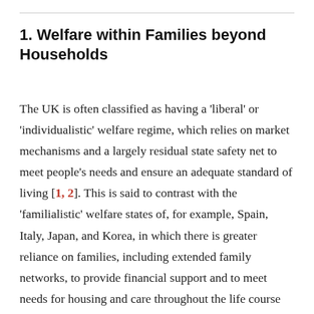1. Welfare within Families beyond Households
The UK is often classified as having a 'liberal' or 'individualistic' welfare regime, which relies on market mechanisms and a largely residual state safety net to meet people's needs and ensure an adequate standard of living [1, 2]. This is said to contrast with the 'familialistic' welfare states of, for example, Spain, Italy, Japan, and Korea, in which there is greater reliance on families, including extended family networks, to provide financial support and to meet needs for housing and care throughout the life course [3, 4, 5]. However, it is recognised that just as some